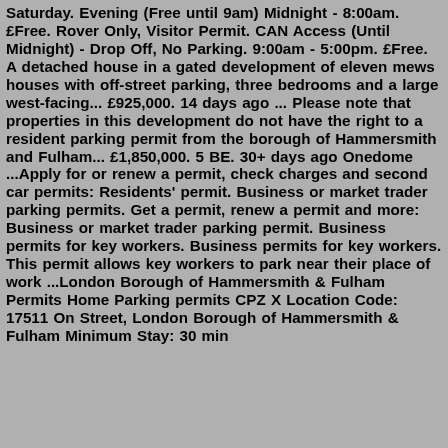Saturday. Evening (Free until 9am) Midnight - 8:00am. £Free. Rover Only, Visitor Permit. CAN Access (Until Midnight) - Drop Off, No Parking. 9:00am - 5:00pm. £Free. A detached house in a gated development of eleven mews houses with off-street parking, three bedrooms and a large west-facing... £925,000. 14 days ago ... Please note that properties in this development do not have the right to a resident parking permit from the borough of Hammersmith and Fulham... £1,850,000. 5 BE. 30+ days ago Onedome ...Apply for or renew a permit, check charges and second car permits: Residents' permit. Business or market trader parking permits. Get a permit, renew a permit and more: Business or market trader parking permit. Business permits for key workers. Business permits for key workers. This permit allows key workers to park near their place of work ...London Borough of Hammersmith & Fulham Permits Home Parking permits CPZ X Location Code: 17511 On Street, London Borough of Hammersmith & Fulham Minimum Stay: 30 min